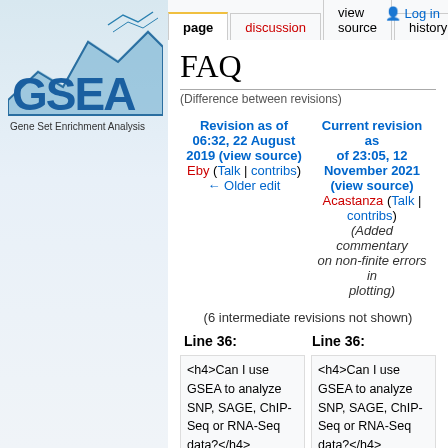[Figure (logo): GSEA - Gene Set Enrichment Analysis logo with mountain/chart graphic]
page | discussion | view source | history | Log in
FAQ
(Difference between revisions)
| Revision as of 06:32, 22 August 2019 (view source) | Current revision as of 23:05, 12 November 2021 (view source) |
| --- | --- |
| Eby (Talk | contribs) | Acastanza (Talk | contribs) |
| ← Older edit | (Added commentary on non-finite errors in plotting) |
(6 intermediate revisions not shown)
Line 36:
Line 36:
<h4>Can I use GSEA to analyze SNP, SAGE, ChIP-Seq or RNA-Seq data?</h4>
<h4>Can I use GSEA to analyze SNP, SAGE, ChIP-Seq or RNA-Seq data?</h4>
<p>GSEA requires as